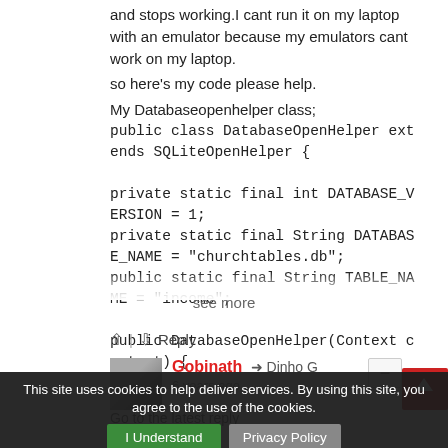and stops working.I cant run it on my laptop with an emulator because my emulators cant work on my laptop.
so here's my code please help.

My Databaseopenhelper class;
public class DatabaseOpenHelper extends SQLiteOpenHelper {

private static final int DATABASE_VERSION = 1;
private static final String DATABASE_NAME = "churchtables.db";
public static final String TABLE_NAME = "income";

public DatabaseOpenHelper(Context context) {
see more
Reply
Gobinath → Dinho G
6 years ago
This site uses cookies to help deliver services. By using this site, you agree to the use of the cookies.
I Understand
Privacy Policy